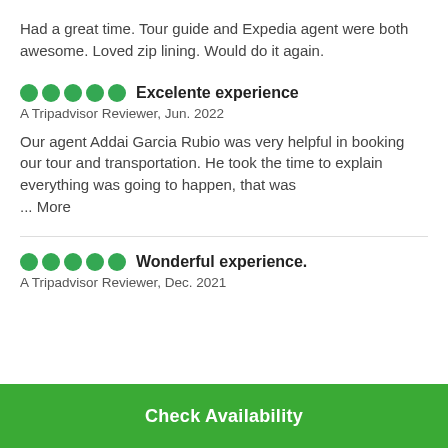Had a great time. Tour guide and Expedia agent were both awesome. Loved zip lining. Would do it again.
Excelente experience
A Tripadvisor Reviewer, Jun. 2022
Our agent Addai Garcia Rubio was very helpful in booking our tour and transportation. He took the time to explain everything was going to happen, that was ... More
Wonderful experience.
A Tripadvisor Reviewer, Dec. 2021
Check Availability